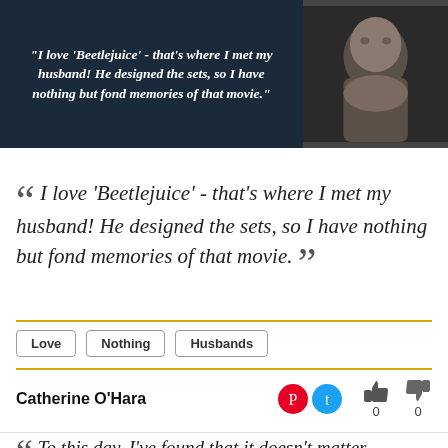[Figure (photo): Dark navy banner with italic bold white quote text on left and a photo of a woman (Catherine O'Hara) on right against dark background.]
“I love 'Beetlejuice' - that's where I met my husband! He designed the sets, so I have nothing but fond memories of that movie.”
Love
Nothing
Husbands
Catherine O'Hara
0   0
“To this day, I've found that it doesn't matter